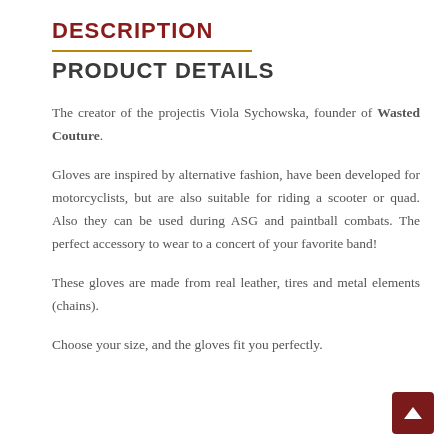DESCRIPTION
PRODUCT DETAILS
The creator of the projectis Viola Sychowska, founder of Wasted Couture.
Gloves are inspired by alternative fashion, have been developed for motorcyclists, but are also suitable for riding a scooter or quad. Also they can be used during ASG and paintball combats. The perfect accessory to wear to a concert of your favorite band!
These gloves are made from real leather, tires and metal elements (chains).
Choose your size, and the gloves fit you perfectly.